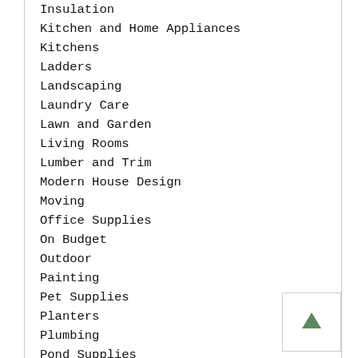Insulation
Kitchen and Home Appliances
Kitchens
Ladders
Landscaping
Laundry Care
Lawn and Garden
Living Rooms
Lumber and Trim
Modern House Design
Moving
Office Supplies
On Budget
Outdoor
Painting
Pet Supplies
Planters
Plumbing
Pond Supplies